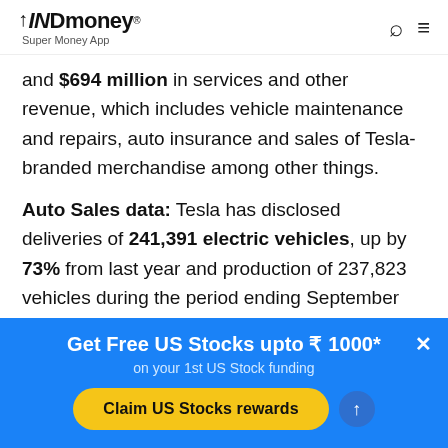INDmoney® Super Money App
and $694 million in services and other revenue, which includes vehicle maintenance and repairs, auto insurance and sales of Tesla-branded merchandise among other things.
Auto Sales data: Tesla has disclosed deliveries of 241,391 electric vehicles, up by 73% from last year and production of 237,823 vehicles during the period ending September 30, 2021. Unlike other automakers, Tesla's sales rose during the quarter,
Get Free US Stocks upto ₹ 1000*
on your 1st US Stock funding
Claim US Stocks rewards